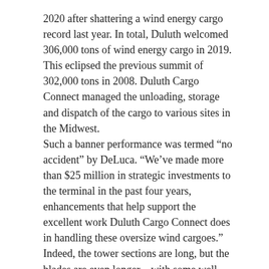2020 after shattering a wind energy cargo record last year. In total, Duluth welcomed 306,000 tons of wind energy cargo in 2019. This eclipsed the previous summit of 302,000 tons in 2008. Duluth Cargo Connect managed the unloading, storage and dispatch of the cargo to various sites in the Midwest.
Such a banner performance was termed “no accident” by DeLuca. “We’ve made more than $25 million in strategic investments to the terminal in the past four years, enhancements that help support the excellent work Duluth Cargo Connect does in handling these oversize wind cargoes.”
Indeed, the tower sections are long, but the blades are even longer – with some well past 200 feet.
“Wind energy has been an important part of our cargo portfolio, dating back to our first shipments more than a decade ago,” noted Jonathan Lamb, president of Duluth Cargo Connect. “As the farthest inland port in North